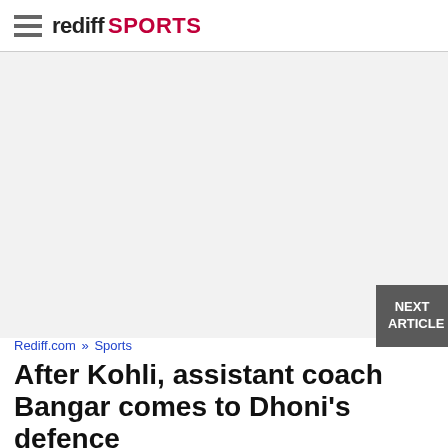rediff SPORTS
[Figure (other): Advertisement placeholder area, light gray background]
NEXT ARTICLE
Rediff.com » Sports
After Kohli, assistant coach Bangar comes to Dhoni's defence
Source: PTI
July 16, 2018 22:08 IST